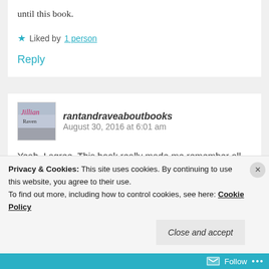until this book.
★ Liked by 1 person
Reply
rantandraveaboutbooks  August 30, 2016 at 6:01 am
Yeah, I agree. This book really made me remember all the things about him that
Privacy & Cookies: This site uses cookies. By continuing to use this website, you agree to their use. To find out more, including how to control cookies, see here: Cookie Policy
Close and accept
Follow